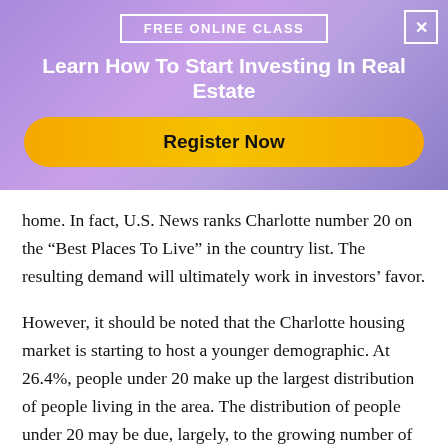[Figure (infographic): Promotional banner for a free online real estate investing class with a gradient purple background, a 'FREE ONLINE CLASS' label in a white box, a title 'Learn How To Start Investing In Real Estate', and a gold 'Register Now' button. A close (X) button is in the top right corner.]
home. In fact, U.S. News ranks Charlotte number 20 on the “Best Places To Live” in the country list. The resulting demand will ultimately work in investors’ favor.
However, it should be noted that the Charlotte housing market is starting to host a younger demographic. At 26.4%, people under 20 make up the largest distribution of people living in the area. The distribution of people under 20 may be due, largely, to the growing number of job opportunities. “The city has a strong economic identity – it’s the second-largest banking hub in the U.S. behind New York City – that’s helped drive consistent population growth for decades,” according to U.S. News.
Lastly, Charlotte’s quality of life has resulted in competitive...